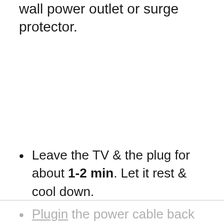wall power outlet or surge protector.
Leave the TV & the plug for about 1-2 min. Let it rest & cool down.
Plugin the power cable back to its destined place. Then, press the power